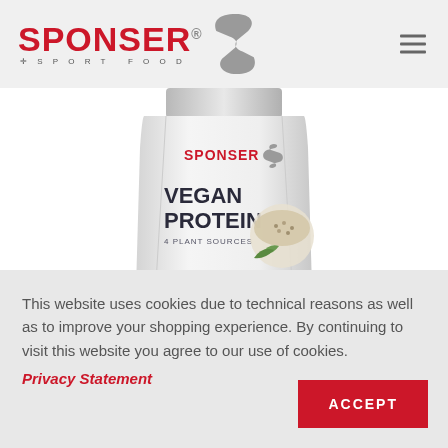[Figure (logo): SPONSER Sport Food logo with red text and grey S icon]
[Figure (photo): SPONSER Vegan Protein product bag - white/silver pouch with VEGAN PROTEIN and 4 PLANT SOURCES text]
This website uses cookies due to technical reasons as well as to improve your shopping experience. By continuing to visit this website you agree to our use of cookies.
Privacy Statement
ACCEPT